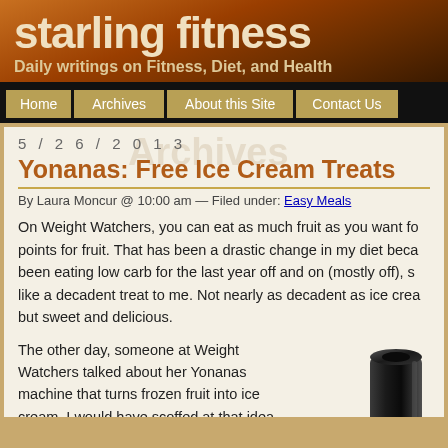starling fitness
Daily writings on Fitness, Diet, and Health
Home | Archives | About this Site | Contact Us
5/26/2013
Yonanas: Free Ice Cream Treats
By Laura Moncur @ 10:00 am — Filed under: Easy Meals
On Weight Watchers, you can eat as much fruit as you want fo points for fruit. That has been a drastic change in my diet beca been eating low carb for the last year off and on (mostly off), s like a decadent treat to me. Not nearly as decadent as ice crea but sweet and delicious.
The other day, someone at Weight Watchers talked about her Yonanas machine that turns frozen fruit into ice cream. I would have scoffed at that idea, but twelve years ago, I had eaten a
[Figure (illustration): Black Yonanas machine partially visible on right side]